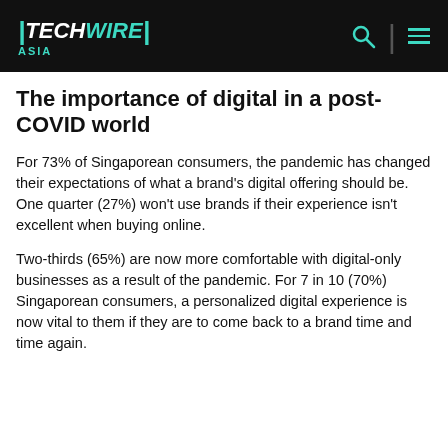TECHWIRE ASIA
The importance of digital in a post-COVID world
For 73% of Singaporean consumers, the pandemic has changed their expectations of what a brand's digital offering should be. One quarter (27%) won't use brands if their experience isn't excellent when buying online.
Two-thirds (65%) are now more comfortable with digital-only businesses as a result of the pandemic. For 7 in 10 (70%) Singaporean consumers, a personalized digital experience is now vital to them if they are to come back to a brand time and time again.